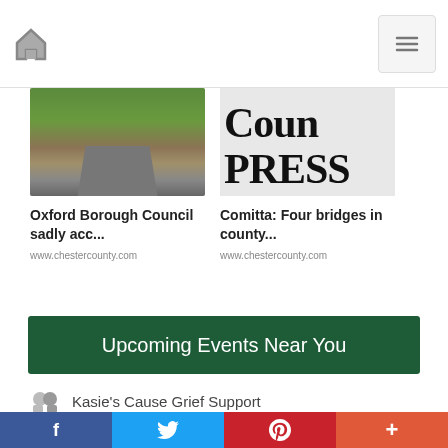Home | Menu
[Figure (photo): Street scene with trees and a road]
Oxford Borough Council sadly acc...
www.chestercounty.com
[Figure (photo): Newspaper with PRESS text visible]
Comitta: Four bridges in county...
www.chestercounty.com
AddThis
Upcoming Events Near You
Kasie's Cause Grief Support